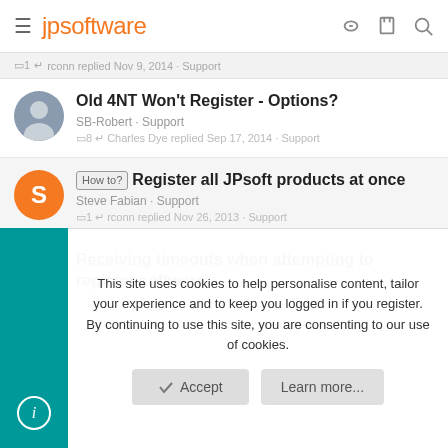jpsoftware
1 · rconn replied Nov 9, 2014 · Support
Old 4NT Won't Register - Options?
SB-Robert · Support
8 · Charles Dye replied Sep 17, 2014 · Support
How to? Register all JPsoft products at once
Steve Fabian · Support
1 · rconn replied Nov 26, 2013 · Support
Receiving timeouts when attempting to register software.
This site uses cookies to help personalise content, tailor your experience and to keep you logged in if you register.
By continuing to use this site, you are consenting to our use of cookies.